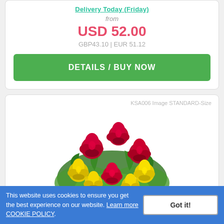Delivery Today (Friday)
from
USD 52.00
GBP43.10 | EUR 51.12
DETAILS / BUY NOW
KSA006 Image STANDARD-Size
[Figure (photo): Bouquet of red and yellow roses with green foliage and white filler flowers]
This website uses cookies to ensure you get the best experience on our website. Learn more COOKIE POLICY.
Got it!